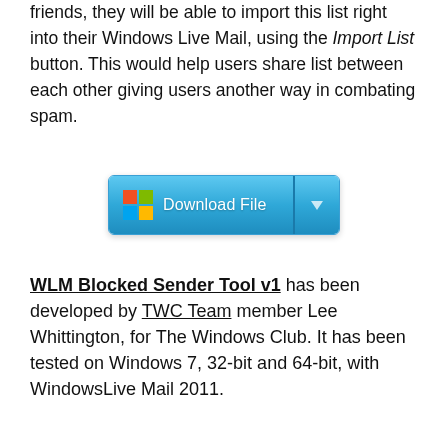Should you wish to share this Spam list with your friends, they will be able to import this list right into their Windows Live Mail, using the Import List button. This would help users share list between each other giving users another way in combating spam.
[Figure (screenshot): A download button with Microsoft logo squares, labeled 'Download File', with a dropdown arrow on the right side, styled in blue gradient.]
WLM Blocked Sender Tool v1 has been developed by TWC Team member Lee Whittington, for The Windows Club. It has been tested on Windows 7, 32-bit and 64-bit, with WindowsLive Mail 2011.